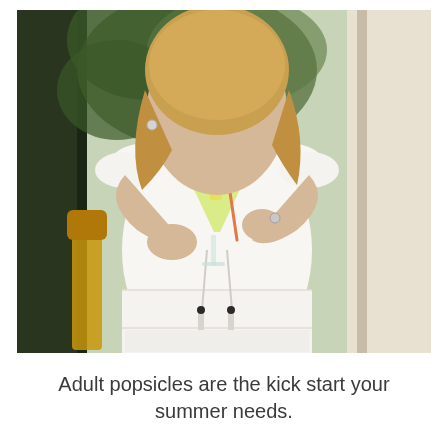[Figure (photo): A woman in a white lace/eyelet tiered dress holding a cocktail glass with a yellow drink, a popsicle, and a straw. She is standing indoors near a window with greenery visible outside. She has blonde hair and is wearing a ring.]
Adult popsicles are the kick start your summer needs.